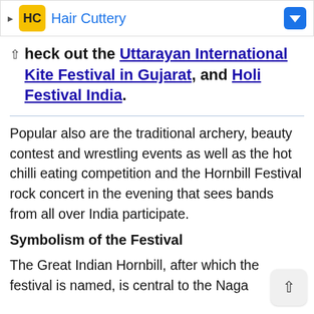[Figure (screenshot): Hair Cuttery advertisement banner with logo and blue downward arrow]
Check out the Uttarayan International Kite Festival in Gujarat, and Holi Festival India.
Popular also are the traditional archery, beauty contest and wrestling events as well as the hot chilli eating competition and the Hornbill Festival rock concert in the evening that sees bands from all over India participate.
Symbolism of the Festival
The Great Indian Hornbill, after which the festival is named, is central to the Naga